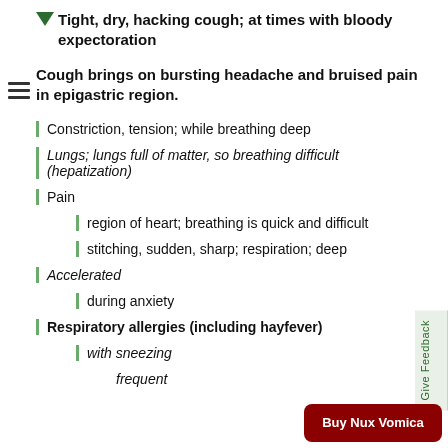Tight, dry, hacking cough; at times with bloody expectoration
Cough brings on bursting headache and bruised pain in epigastric region.
Constriction, tension; while breathing deep
Lungs; lungs full of matter, so breathing difficult (hepatization)
Pain
region of heart; breathing is quick and difficult
stitching, sudden, sharp; respiration; deep
Accelerated
during anxiety
Respiratory allergies (including hayfever)
with sneezing
frequent